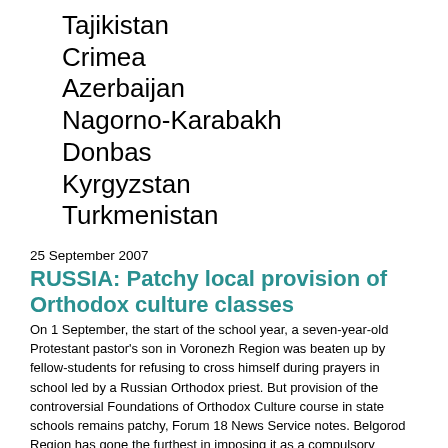Tajikistan
Crimea
Azerbaijan
Nagorno-Karabakh
Donbas
Kyrgyzstan
Turkmenistan
25 September 2007
RUSSIA: Patchy local provision of Orthodox culture classes
On 1 September, the start of the school year, a seven-year-old Protestant pastor's son in Voronezh Region was beaten up by fellow-students for refusing to cross himself during prayers in school led by a Russian Orthodox priest. But provision of the controversial Foundations of Orthodox Culture course in state schools remains patchy, Forum 18 News Service notes. Belgorod Region has gone the furthest in imposing it as a compulsory subject for all grades. A Public Chamber survey found that 12 regions have 10,000 pupils or more studying Foundations of Orthodox Culture, though other regions have none. Mukaddas Bibarsov of the Volga Region Spiritual Directorate of Muslims complained to Forum 18 in 2005 that the subject represents "the Christianisation of our children". More